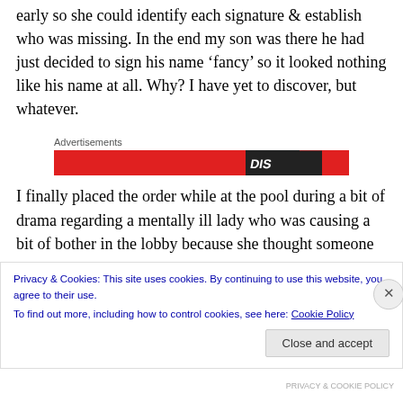early so she could identify each signature & establish who was missing. In the end my son was there he had just decided to sign his name ‘fancy’ so it looked nothing like his name at all. Why? I have yet to discover, but whatever.
Advertisements
[Figure (other): Red advertisement banner with black diagonal stripe element]
I finally placed the order while at the pool during a bit of drama regarding a mentally ill lady who was causing a bit of bother in the lobby because she thought someone was
Privacy & Cookies: This site uses cookies. By continuing to use this website, you agree to their use.
To find out more, including how to control cookies, see here: Cookie Policy
Close and accept